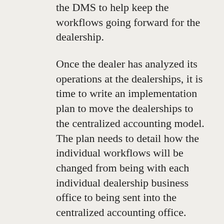the DMS to help keep the workflows going forward for the dealership.
Once the dealer has analyzed its operations at the dealerships, it is time to write an implementation plan to move the dealerships to the centralized accounting model. The plan needs to detail how the individual workflows will be changed from being with each individual dealership business office to being sent into the centralized accounting office.